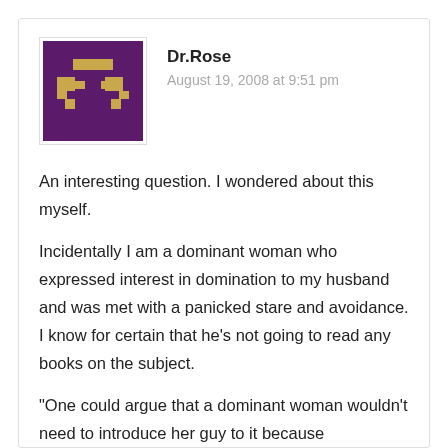[Figure (illustration): Pixel art avatar on a dark purple background with a gold/tan pixelated face/icon design]
Dr.Rose
August 19, 2008 at 9:51 pm
An interesting question. I wondered about this myself.
Incidentally I am a dominant woman who expressed interest in domination to my husband and was met with a panicked stare and avoidance. I know for certain that he’s not going to read any books on the subject.
“One could argue that a dominant woman wouldn’t need to introduce her guy to it because